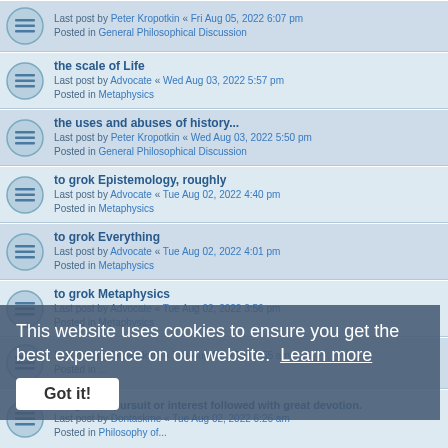Last post by Peter Kropotkin « Fri Aug 05, 2022 6:07 pm
Posted in General Philosophical Discussion
the scale of Life
Last post by Advocate « Wed Aug 03, 2022 5:57 pm
Posted in Metaphysics
the uses and abuses of history...
Last post by Peter Kropotkin « Wed Aug 03, 2022 5:50 pm
Posted in General Philosophical Discussion
to grok Epistemology, roughly
Last post by Advocate « Tue Aug 02, 2022 4:40 pm
Posted in Metaphysics
to grok Everything
Last post by Advocate « Tue Aug 02, 2022 4:01 pm
Posted in Metaphysics
to grok Metaphysics
Last post by Advocate « Tue Aug 02, 2022 3:56 pm
Posted in Metaphysics
Last post by Dontaskme « Tue Aug 02, 2022 6:55 am
Posted in ...
Religion: a pursuit or interest followed with great devotion.
Last post by Dontaskme « Tue Aug 02, 2022 6:26 am
Posted in Philosophy of...
What Premier League football team do you support? or other sport/team
Last post by attofishni « Mon Aug 01, 2022 6:17 am
This website uses cookies to ensure you get the best experience on our website. Learn more
Got it!